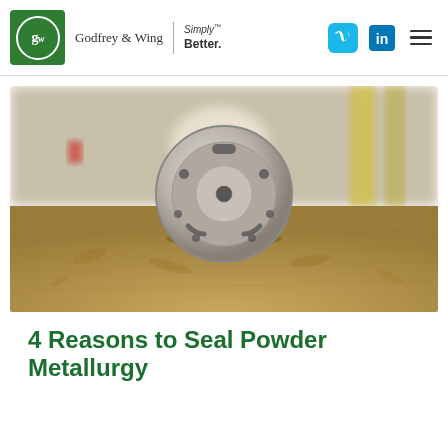[Figure (logo): Godfrey & Wing company logo with green box, circular GW monogram, and 'Simply Better.' tagline]
[Figure (photo): A silver powder metallurgy disc/seal part resting on a wooden particle board surface, with a blurred industrial background]
4 Reasons to Seal Powder Metallurgy